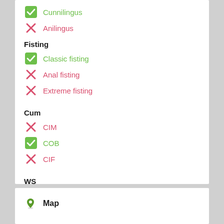✓ Cunnilingus
✗ Anilingus
Fisting
✓ Classic fisting
✗ Anal fisting
✗ Extreme fisting
Cum
✗ CIM
✓ COB
✗ CIF
WS
✓ WS giving
✓ WS getting
Map